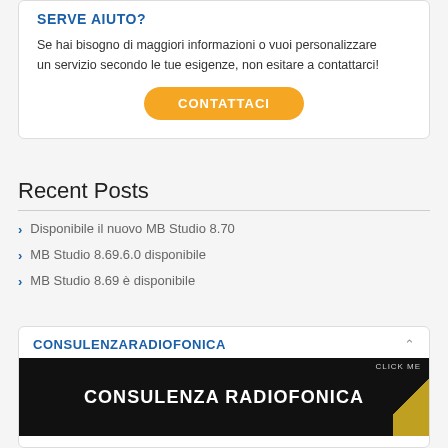SERVE AIUTO?
Se hai bisogno di maggiori informazioni o vuoi personalizzare un servizio secondo le tue esigenze, non esitare a contattarci!
CONTATTACI
Recent Posts
Disponibile il nuovo MB Studio 8.70
MB Studio 8.69.6.0 disponibile
MB Studio 8.69 è disponibile
CONSULENZARADIOFONICA
[Figure (screenshot): Banner image with dark background and text 'CONSULENZA RADIOFONICA' in white bold letters, with a diagonal yellow/gold stripe on the right and 'CLICK ME' text.]